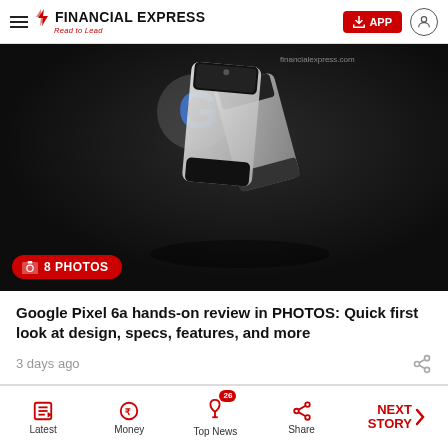Financial Express — Read to Lead
[Figure (photo): Google Pixel 6a smartphone product photo on dark background with Google logo visible, showing phone from multiple angles. Badge: 8 PHOTOS]
Google Pixel 6a hands-on review in PHOTOS: Quick first look at design, specs, features, and more
3 days ago
Latest | Money | Top News (26) | Share | NEXT STORY